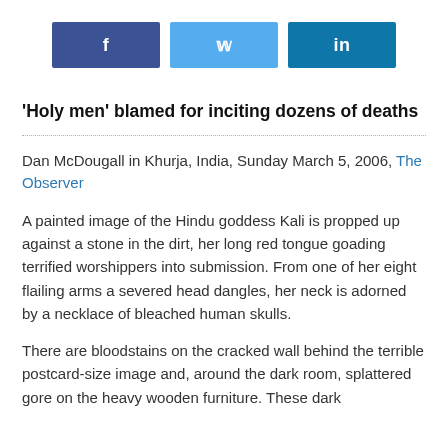[Figure (other): Three social media share buttons: Facebook (dark blue, 'f'), Twitter (light blue, bird icon), LinkedIn (teal, 'in')]
'Holy men' blamed for inciting dozens of deaths
Dan McDougall in Khurja, India, Sunday March 5, 2006, The Observer
A painted image of the Hindu goddess Kali is propped up against a stone in the dirt, her long red tongue goading terrified worshippers into submission. From one of her eight flailing arms a severed head dangles, her neck is adorned by a necklace of bleached human skulls.
There are bloodstains on the cracked wall behind the terrible postcard-size image and, around the dark room, splattered gore on the heavy wooden furniture. These dark